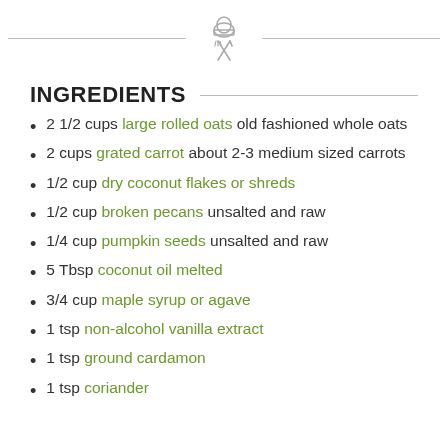[Figure (illustration): Chef hat and crossed utensils icon in gray, centered between two horizontal lines forming a decorative header divider.]
INGREDIENTS
2 1/2 cups large rolled oats old fashioned whole oats
2 cups grated carrot about 2-3 medium sized carrots
1/2 cup dry coconut flakes or shreds
1/2 cup broken pecans unsalted and raw
1/4 cup pumpkin seeds unsalted and raw
5 Tbsp coconut oil melted
3/4 cup maple syrup or agave
1 tsp non-alcohol vanilla extract
1 tsp ground cardamon
1 tsp coriander